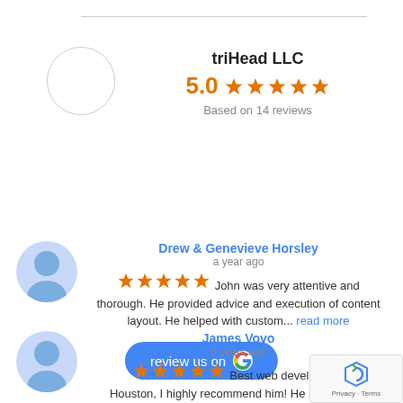triHead LLC
5.0 ★★★★★ Based on 14 reviews
[Figure (screenshot): Review us on Google button with Google logo]
Drew & Genevieve Horsley
a year ago
★★★★★ John was very attentive and thorough. He provided advice and execution of content layout. He helped with custom... read more
James Vovo
3 years ago
★★★★★ Best web developer in Houston, I highly recommend him! He made me a website in the spring 2019 which I love it. I'm... read more